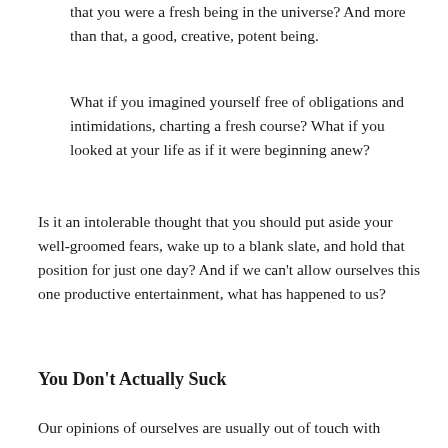that you were a fresh being in the universe? And more than that, a good, creative, potent being.
What if you imagined yourself free of obligations and intimidations, charting a fresh course? What if you looked at your life as if it were beginning anew?
Is it an intolerable thought that you should put aside your well-groomed fears, wake up to a blank slate, and hold that position for just one day? And if we can't allow ourselves this one productive entertainment, what has happened to us?
You Don't Actually Suck
Our opinions of ourselves are usually out of touch with